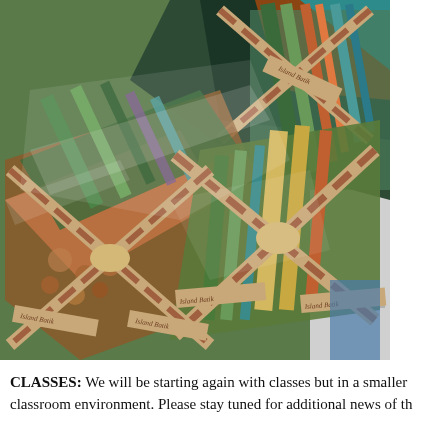[Figure (photo): Photograph of colorful fabric bundles (jelly rolls/charm packs) wrapped in plastic with brown and cream ribbon ties labeled 'Island Batik', displayed in a store setting.]
CLASSES:  We will be starting again with classes but in a smaller classroom environment. Please stay tuned for additional news of th